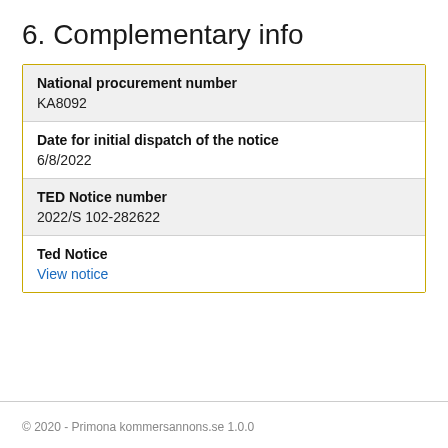6. Complementary info
| National procurement number | KA8092 |
| Date for initial dispatch of the notice | 6/8/2022 |
| TED Notice number | 2022/S 102-282622 |
| Ted Notice | View notice |
© 2020 - Primona kommersannons.se 1.0.0